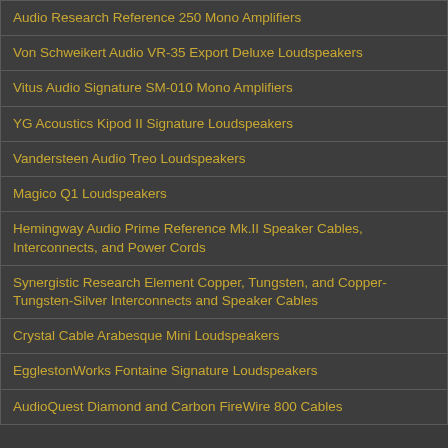Audio Research Reference 250 Mono Amplifiers
Von Schweikert Audio VR-35 Export Deluxe Loudspeakers
Vitus Audio Signature SM-010 Mono Amplifiers
YG Acoustics Kipod II Signature Loudspeakers
Vandersteen Audio Treo Loudspeakers
Magico Q1 Loudspeakers
Hemingway Audio Prime Reference Mk.II Speaker Cables, Interconnects, and Power Cords
Synergistic Research Element Copper, Tungsten, and Copper-Tungsten-Silver Interconnects and Speaker Cables
Crystal Cable Arabesque Mini Loudspeakers
EgglestonWorks Fontaine Signature Loudspeakers
AudioQuest Diamond and Carbon FireWire 800 Cables